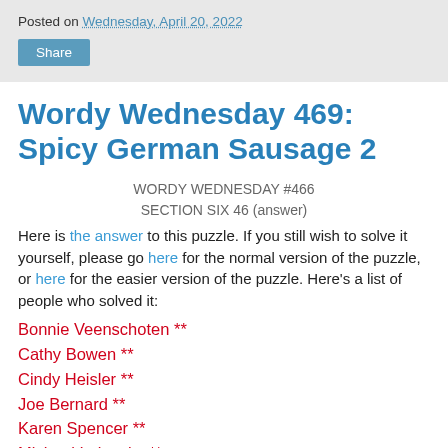Posted on Wednesday, April 20, 2022
Wordy Wednesday 469: Spicy German Sausage 2
WORDY WEDNESDAY #466
SECTION SIX 46 (answer)
Here is the answer to this puzzle. If you still wish to solve it yourself, please go here for the normal version of the puzzle, or here for the easier version of the puzzle. Here's a list of people who solved it:
Bonnie Veenschoten **
Cathy Bowen **
Cindy Heisler **
Joe Bernard **
Karen Spencer **
Michael Lebowitz **